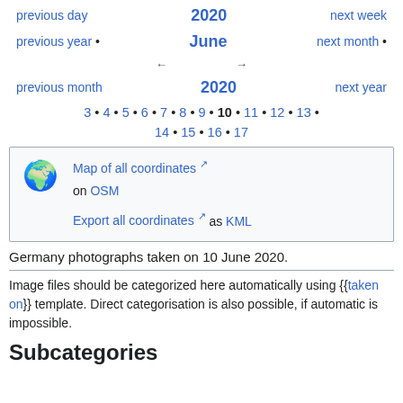2020 / June 2020 navigation with previous day, next week, previous year, next month, previous month, next year links
3 • 4 • 5 • 6 • 7 • 8 • 9 • 10 • 11 • 12 • 13 •
14 • 15 • 16 • 17
[Figure (other): Globe emoji icon with map links]
Map of all coordinates ↗ on OSM
Export all coordinates ↗ as KML
Germany photographs taken on 10 June 2020.
Image files should be categorized here automatically using {{taken on}} template. Direct categorisation is also possible, if automatic is impossible.
Subcategories